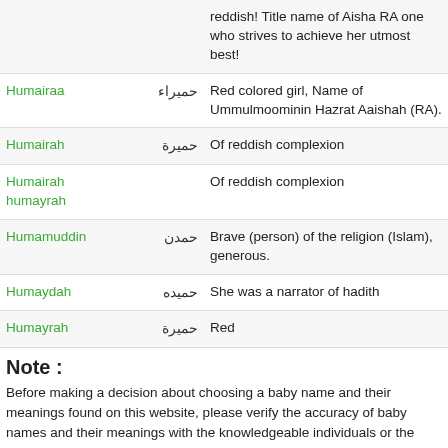| Name | Arabic | Meaning |
| --- | --- | --- |
|  |  | reddish! Title name of Aisha RA one who strives to achieve her utmost best! |
| Humairaa | حميراء | Red colored girl, Name of Ummulmoominin Hazrat Aaishah (RA). |
| Humairah | حميرة | Of reddish complexion |
| Humairah humayrah |  | Of reddish complexion |
| Humamuddin | حمدن | Brave (person) of the religion (Islam), generous. |
| Humaydah | حميده | She was a narrator of hadith |
| Humayrah | حميرة | Red |
Note :
Before making a decision about choosing a baby name and their meanings found on this website, please verify the accuracy of baby names and their meanings with the knowledgeable individuals or the